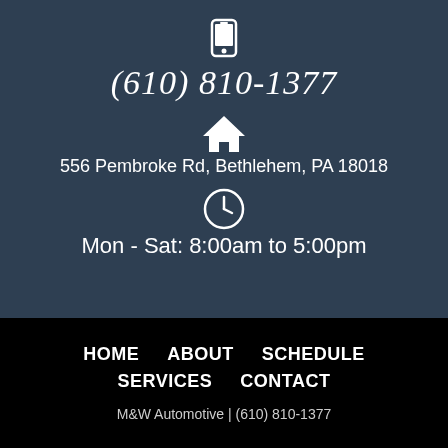(610) 810-1377
556 Pembroke Rd, Bethlehem, PA 18018
Mon - Sat: 8:00am to 5:00pm
HOME   ABOUT   SCHEDULE   SERVICES   CONTACT
M&W Automotive | (610) 810-1377